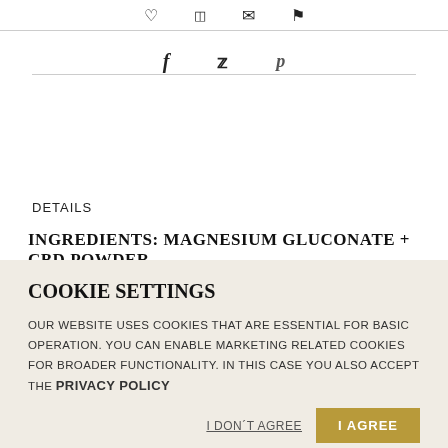[Figure (other): Small icon symbols (heart, grid, envelope, flag) in top bar]
[Figure (other): Social share icons: Facebook (f), Twitter (bird), Pinterest (p)]
DETAILS
INGREDIENTS: MAGNESIUM GLUCONATE + CBD POWDER
COOKIE SETTINGS
OUR WEBSITE USES COOKIES THAT ARE ESSENTIAL FOR BASIC OPERATION. YOU CAN ENABLE MARKETING RELATED COOKIES FOR BROADER FUNCTIONALITY. IN THIS CASE YOU ALSO ACCEPT THE PRIVACY POLICY
I DON'T AGREE
I AGREE